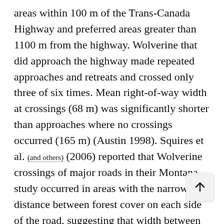areas within 100 m of the Trans-Canada Highway and preferred areas greater than 1100 m from the highway. Wolverine that did approach the highway made repeated approaches and retreats and crossed only three of six times. Mean right-of-way width at crossings (68 m) was significantly shorter than approaches where no crossings occurred (165 m) (Austin 1998). Squires et al. (and others) (2006) reported that Wolverine crossings of major roads in their Montana study occurred in areas with the narrowest distance between forest cover on each side of the road, suggesting that width between habitats in road right-of-ways should be important in highway planning. Hornocker and Hash (1981) noted that rivers, reservoirs, highways, valleys or major mountain ranges apparently did not affect movements. Landscape models developed by Rowland et al. (and others) (2003) indicated that amount of habitat, road